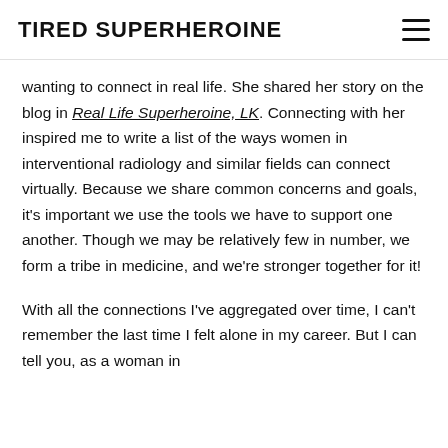TIRED SUPERHEROINE
wanting to connect in real life. She shared her story on the blog in Real Life Superheroine, LK. Connecting with her inspired me to write a list of the ways women in interventional radiology and similar fields can connect virtually. Because we share common concerns and goals, it's important we use the tools we have to support one another. Though we may be relatively few in number, we form a tribe in medicine, and we're stronger together for it!
With all the connections I've aggregated over time, I can't remember the last time I felt alone in my career. But I can tell you, as a woman in